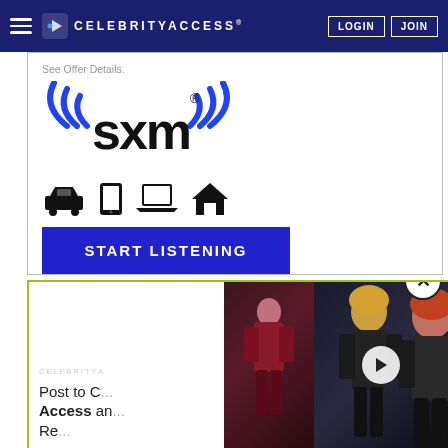CELEBRITYACCESS | LOGIN | JOIN
[Figure (screenshot): SXM (SiriusXM) advertisement with logo, device icons (car, tablet, laptop, home), and a blue START LISTENING button. Text 'See Offer Details.' at top.]
[Figure (screenshot): CelebrityAccess bottom section with partially visible article thumbnails and title text 'Post to Celebrity Access and Re...' with a video play button overlay showing music artists.]